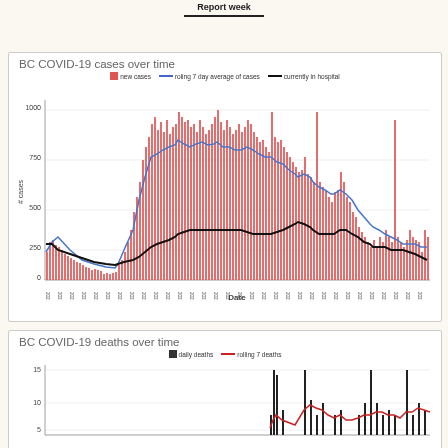Report week
[Figure (continuous-plot): Bar chart with rolling 7-day average line (blue) and currently in hospital line (black). Red bars show daily new cases from 2021-05-31 to 2021-12-08, peaking around 875. The 7-day rolling average peaks near 700. Currently in hospital peaks around 450.]
[Figure (continuous-plot): Bar chart with rolling 7 deaths line (red). Black bars show daily deaths. Y-axis shows 0 to 15. Partial chart visible at bottom of page.]